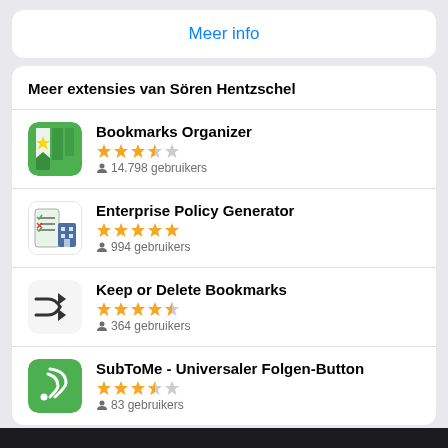Meer info
Meer extensies van Sören Hentzschel
Bookmarks Organizer
★★★½☆
14.798 gebruikers
Enterprise Policy Generator
★★★★★
994 gebruikers
Keep or Delete Bookmarks
★★★★½
364 gebruikers
SubToMe - Universaler Folgen-Button
★★★½☆
83 gebruikers